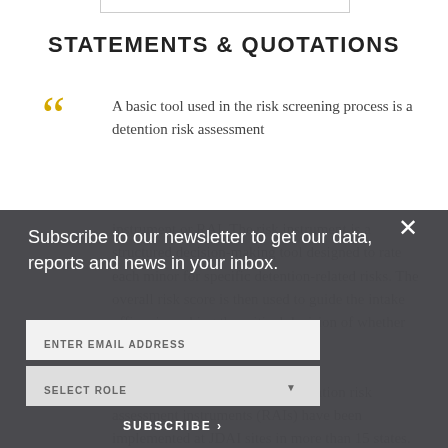STATEMENTS & QUOTATIONS
A basic tool used in the risk screening process is a detention risk assessment instrument or RAI. The risk instrument is a structured decision-making tool designed to rate each minor for specific detention-related risks. The overall risk score is then used to guide the intake officer in making the critical decision of whether to detain or release an individual.
Subscribe to our newsletter to get our data, reports and news in your inbox.
ENTER EMAIL ADDRESS
SELECT ROLE
SUBSCRIBE ›